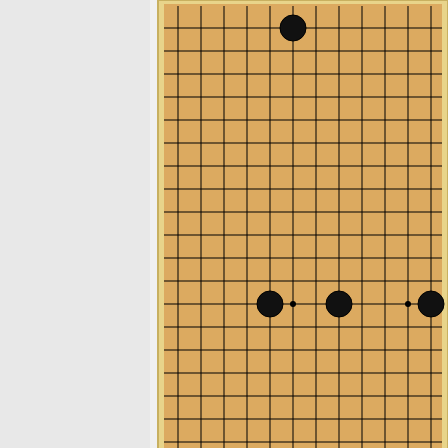[Figure (other): Partial Go board (19x19 grid) with tan/orange background, showing 5 black stones placed on the board. The board is cut off on the right side. Stones appear at approximately: top center, middle-left, middle-center, middle-right, and far right middle.]
Click Here To Show Diagram Code
Harleqin, how do you want to follow-up your
Top
profile
Post subject: Re: Opening problems for AI: Problem 26
#8 Posted: Sat Jul 11, 2020 10:50 am
Bill Spight
Honinbo
Posts: 10905
Liked others: 3651
Was liked: 3372
Show